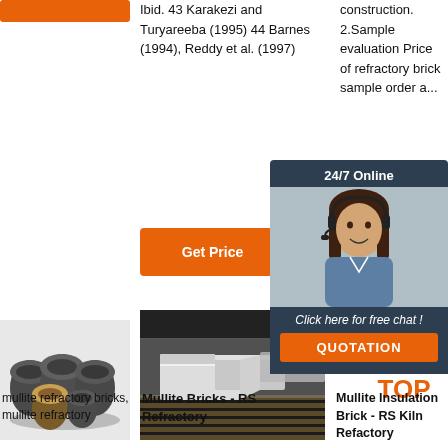[Figure (other): Orange rectangle bar at top left]
Ibid. 43 Karakezi and Turyareeba (1995) 44 Barnes (1994), Reddy et al. (1997)
construction. 2.Sample evaluation Price of refractory brick sample order a...
[Figure (other): 24/7 Online chat widget with woman wearing headset]
Click here for free chat !
QUOTATION
Get Price
Get
[Figure (photo): Mullite refractory brick components - round black pieces]
[Figure (photo): Mullite Bricks in kiln - white rectangular blocks on roller conveyor]
[Figure (other): TOP badge icon in orange]
mullite refractory bricks, mullite refractory
Mullite Bricks - RS Refractory
Mullite Insulation Brick - RS Kiln Refactory